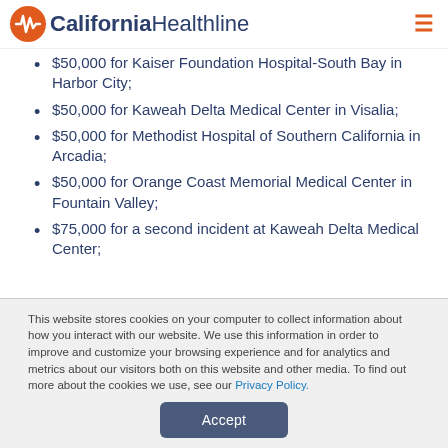California Healthline
$50,000 for Kaiser Foundation Hospital-South Bay in Harbor City;
$50,000 for Kaweah Delta Medical Center in Visalia;
$50,000 for Methodist Hospital of Southern California in Arcadia;
$50,000 for Orange Coast Memorial Medical Center in Fountain Valley;
$75,000 for a second incident at Kaweah Delta Medical Center;
This website stores cookies on your computer to collect information about how you interact with our website. We use this information in order to improve and customize your browsing experience and for analytics and metrics about our visitors both on this website and other media. To find out more about the cookies we use, see our Privacy Policy.